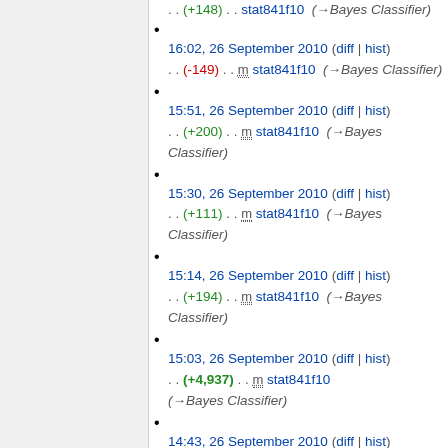16:02, 26 September 2010 (diff | hist) . . (-149) . . m stat841f10 (→Bayes Classifier)
15:51, 26 September 2010 (diff | hist) . . (+200) . . m stat841f10 (→Bayes Classifier)
15:30, 26 September 2010 (diff | hist) . . (+111) . . m stat841f10 (→Bayes Classifier)
15:14, 26 September 2010 (diff | hist) . . (+194) . . m stat841f10 (→Bayes Classifier)
15:03, 26 September 2010 (diff | hist) . . (+4,937) . . m stat841f10 (→Bayes Classifier)
14:43, 26 September 2010 (diff | hist) . . (-4) . . m stat841f10 (→Error rate)